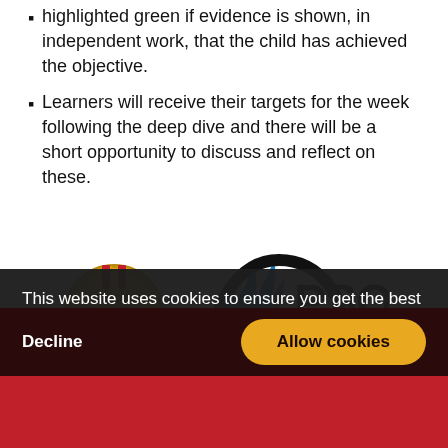highlighted green if evidence is shown, in independent work, that the child has achieved the objective.
Learners will receive their targets for the week following the deep dive and there will be a short opportunity to discuss and reflect on these.
[Figure (logo): School Games Gold badge and PSQM (Primary Science Quality Mark) logo, Valid 2022-2025]
This website uses cookies to ensure you get the best experience on our website.
more information
Decline
Allow cookies